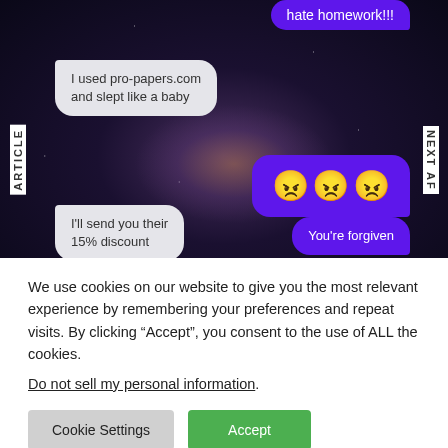[Figure (screenshot): Screenshot of a chat conversation over a space/galaxy background. Shows text message bubbles: a purple bubble at top cut off saying 'hate homework!!!', a gray bubble saying 'I used pro-papers.com and slept like a baby', a purple bubble with three angry face emojis, a gray bubble saying 'I'll send you their 15% discount', and a purple bubble saying 'You're forgiven'. Side navigation labels 'ARTICLE' and 'NEXT AF' are visible on left and right edges.]
We use cookies on our website to give you the most relevant experience by remembering your preferences and repeat visits. By clicking “Accept”, you consent to the use of ALL the cookies.
Do not sell my personal information.
Cookie Settings
Accept